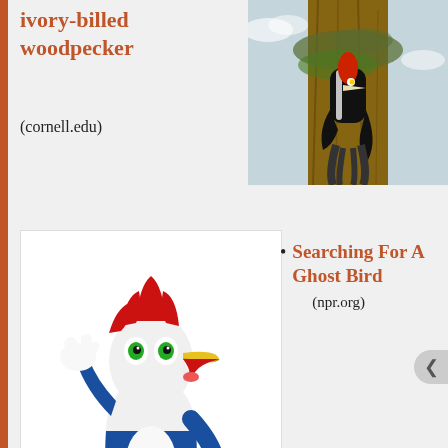ivory-billed woodpecker
(cornell.edu)
[Figure (photo): Photo of an ivory-billed woodpecker on a tree trunk]
[Figure (illustration): Cartoon illustration of Woody Woodpecker character laughing and gesturing]
Searching For A Ghost Bird (npr.org)
Privacy & Cookies: This site uses cookies. By continuing to use this website, you agree to their use.
To find out more, including how to control cookies, see here: Cookie Policy
Close and accept